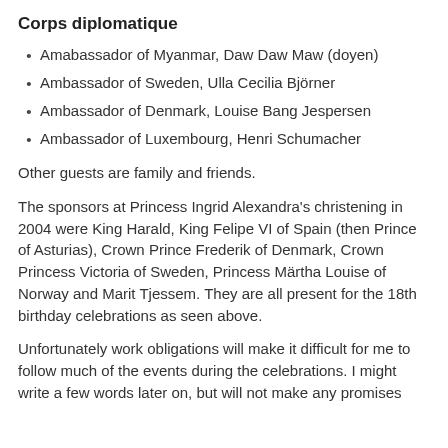Corps diplomatique
Amabassador of Myanmar, Daw Daw Maw (doyen)
Ambassador of Sweden, Ulla Cecilia Björner
Ambassador of Denmark, Louise Bang Jespersen
Ambassador of Luxembourg, Henri Schumacher
Other guests are family and friends.
The sponsors at Princess Ingrid Alexandra's christening in 2004 were King Harald, King Felipe VI of Spain (then Prince of Asturias), Crown Prince Frederik of Denmark, Crown Princess Victoria of Sweden, Princess Märtha Louise of Norway and Marit Tjessem. They are all present for the 18th birthday celebrations as seen above.
Unfortunately work obligations will make it difficult for me to follow much of the events during the celebrations. I might write a few words later on, but will not make any promises